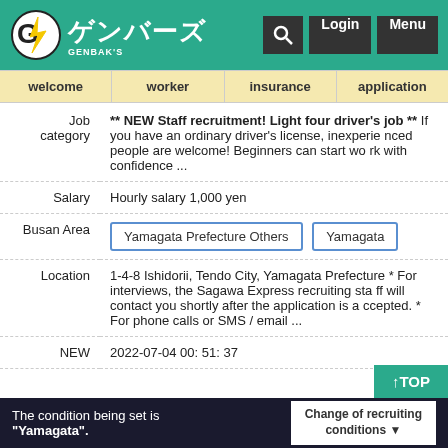[Figure (logo): Genbas logo with lightning bolt G icon and Japanese text ゲンバーズ on teal header with Login and Menu buttons]
| welcome | worker | insurance | application |
| --- | --- | --- | --- |
| Field | Value |
| --- | --- |
| Job category | ** NEW Staff recruitment! Light four driver's job ** If you have an ordinary driver's license, inexperienced people are welcome! Beginners can start work with confidence ... |
| Salary | Hourly salary 1,000 yen |
| Busan Area | Yamagata Prefecture Others | Yamagata |
| Location | 1-4-8 Ishidorii, Tendo City, Yamagata Prefecture * For interviews, the Sagawa Express recruiting staff will contact you shortly after the application is accepted. * For phone calls or SMS / email ... |
| NEW | 2022-07-04 00: 51: 37 |
The condition being set is "Yamagata".
Change of recruiting conditions ▼